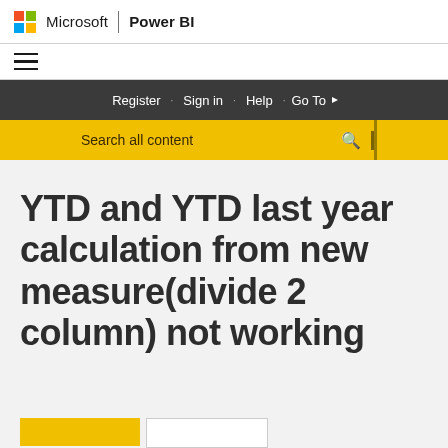Microsoft | Power BI
[Figure (screenshot): Hamburger menu icon (three horizontal lines)]
Register · Sign in · Help · Go To
Search all content
YTD and YTD last year calculation from new measure(divide 2 column) not working